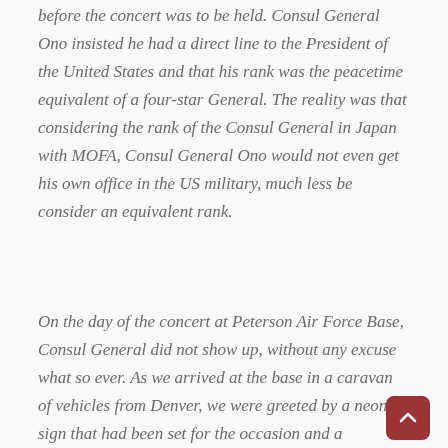before the concert was to be held. Consul General Ono insisted he had a direct line to the President of the United States and that his rank was the peacetime equivalent of a four-star General. The reality was that considering the rank of the Consul General in Japan with MOFA, Consul General Ono would not even get his own office in the US military, much less be consider an equivalent rank.
On the day of the concert at Peterson Air Force Base, Consul General did not show up, without any excuse what so ever. As we arrived at the base in a caravan of vehicles from Denver, we were greeted by a neon sign that had been set for the occasion and a Japanese national flag. The sign read,